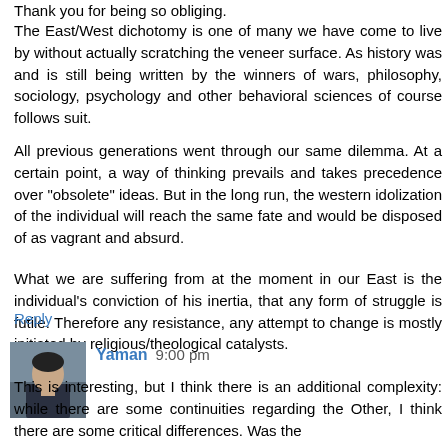Thank you for being so obliging.
The East/West dichotomy is one of many we have come to live by without actually scratching the veneer surface. As history was and is still being written by the winners of wars, philosophy, sociology, psychology and other behavioral sciences of course follows suit.
All previous generations went through our same dilemma. At a certain point, a way of thinking prevails and takes precedence over "obsolete" ideas. But in the long run, the western idolization of the individual will reach the same fate and would be disposed of as vagrant and absurd.
What we are suffering from at the moment in our East is the individual's conviction of his inertia, that any form of struggle is futile. Therefore any resistance, any attempt to change is mostly initiated by religious/theological catalysts.
Reply
[Figure (photo): Avatar photo of commenter Yaman - a man in dark clothing]
Yaman 9:00 pm
This is interesting, but I think there is an additional complexity: while there are some continuities regarding the Other, I think there are some critical differences. Was the